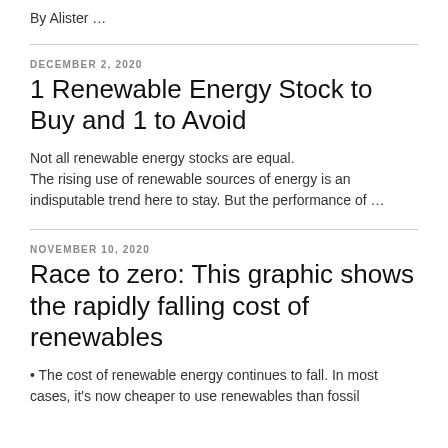By Alister …
DECEMBER 2, 2020
1 Renewable Energy Stock to Buy and 1 to Avoid
Not all renewable energy stocks are equal. The rising use of renewable sources of energy is an indisputable trend here to stay. But the performance of …
NOVEMBER 10, 2020
Race to zero: This graphic shows the rapidly falling cost of renewables
• The cost of renewable energy continues to fall. In most cases, it's now cheaper to use renewables than fossil